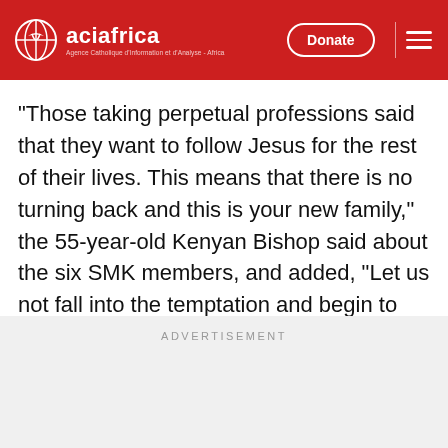aciafrica
“Those taking perpetual professions said that they want to follow Jesus for the rest of their lives. This means that there is no turning back and this is your new family,” the 55-year-old Kenyan Bishop said about the six SMK members, and added, “Let us not fall into the temptation and begin to embrace the same family we have left behind.”
ADVERTISEMENT